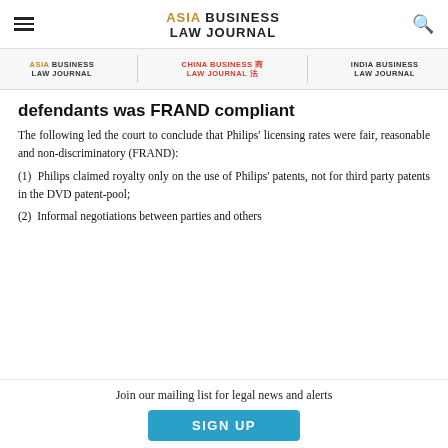ASIA BUSINESS LAW JOURNAL
ASIA BUSINESS LAW JOURNAL | CHINA BUSINESS LAW JOURNAL | INDIA BUSINESS LAW JOURNAL
defendants was FRAND compliant
The following led the court to conclude that Philips' licensing rates were fair, reasonable and non-discriminatory (FRAND):
(1) Philips claimed royalty only on the use of Philips' patents, not for third party patents in the DVD patent-pool;
(2) Informal negotiations between parties and others
Join our mailing list for legal news and alerts
SIGN UP